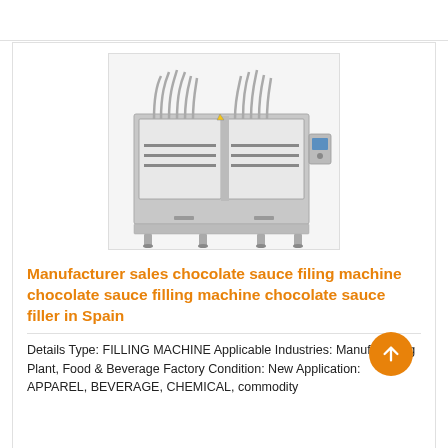[Figure (photo): Industrial chocolate sauce filling machine with stainless steel frame, multiple filling nozzles with flexible tubes on top, and a control panel on the right side.]
Manufacturer sales chocolate sauce filing machine chocolate sauce filling machine chocolate sauce filler in Spain
Details Type: FILLING MACHINE Applicable Industries: Manufacturing Plant, Food & Beverage Factory Condition: New Application: APPAREL, BEVERAGE, CHEMICAL, commodity